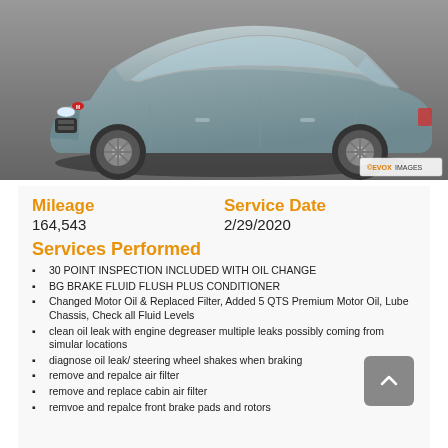[Figure (photo): Gray Mazda 3 sedan car photo, shown from front-right angle, on gray background. EVOX IMAGES watermark badge in bottom-right corner.]
Mileage
164,543
Service Date
2/29/2020
Services Performed
30 POINT INSPECTION INCLUDED WITH OIL CHANGE
BG BRAKE FLUID FLUSH PLUS CONDITIONER
Changed Motor Oil & Replaced Filter, Added 5 QTS Premium Motor Oil, Lube Chassis, Check all Fluid Levels
clean oil leak with engine degreaser multiple leaks possibly coming from simular locations
diagnose oil leak/ steering wheel shakes when braking
remove and repalce air filter
remove and replace cabin air filter
remvoe and repalce front brake pads and rotors